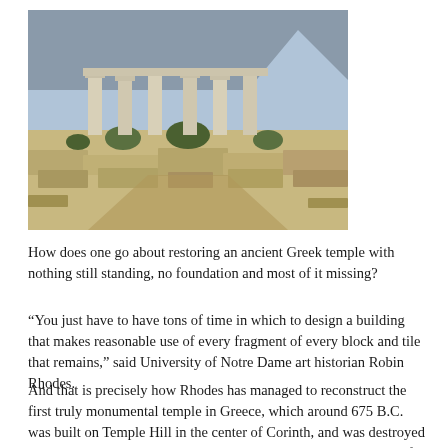[Figure (photo): Photograph of ancient Greek temple ruins with stone columns still standing on a rocky hillside, with a mountain visible in the background.]
How does one go about restoring an ancient Greek temple with nothing still standing, no foundation and most of it missing?
“You just have to have tons of time in which to design a building that makes reasonable use of every fragment of every block and tile that remains,” said University of Notre Dame art historian Robin Rhodes.
And that is precisely how Rhodes has managed to reconstruct the first truly monumental temple in Greece, which around 675 B.C. was built on Temple Hill in the center of Corinth, and was destroyed about 100 years later. The project ultimately will yield a history of Greek architecture in Corinth, as well as...